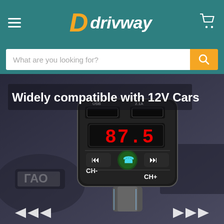drivway
What are you looking for?
[Figure (photo): A Bluetooth FM transmitter car charger with USB ports, LED display showing 87.5, CH- CH+ buttons, skip buttons, and a green Bluetooth button. Text overlay reads 'Widely compatible with 12V Cars'. White arrows point inward at the bottom suggesting compatibility.]